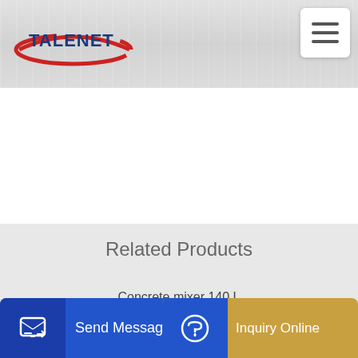[Figure (logo): Talenet company logo with red oval swoosh and blue text TALENET]
[Figure (other): Hamburger menu button, three horizontal bars in white rounded box]
[Figure (photo): White/light grey textured background area]
Related Products
Concrete mixer 140 L
160tph Lb2000 China Manufacturer Asphalt Plant 40-320t H
ps i
Send Message
Inquiry Online